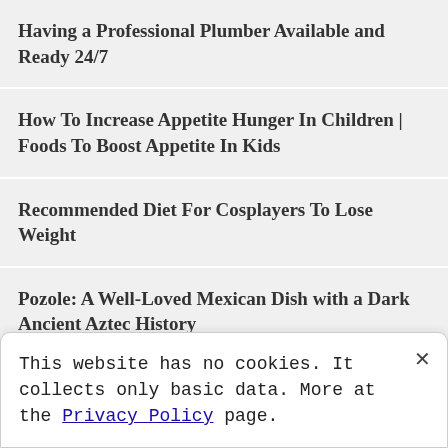Having a Professional Plumber Available and Ready 24/7
How To Increase Appetite Hunger In Children | Foods To Boost Appetite In Kids
Recommended Diet For Cosplayers To Lose Weight
Pozole: A Well-Loved Mexican Dish with a Dark Ancient Aztec History
This website has no cookies. It collects only basic data. More at the Privacy Policy page.